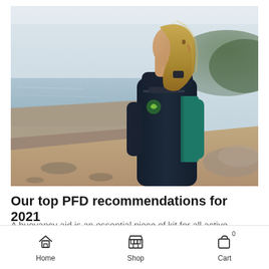[Figure (photo): Young woman in a black and teal wetsuit/buoyancy aid standing on a shoreline with water and trees in background, viewed in profile]
Our top PFD recommendations for 2021
A buoyancy aid is an essential piece of kit for all active
Home   Shop   Cart